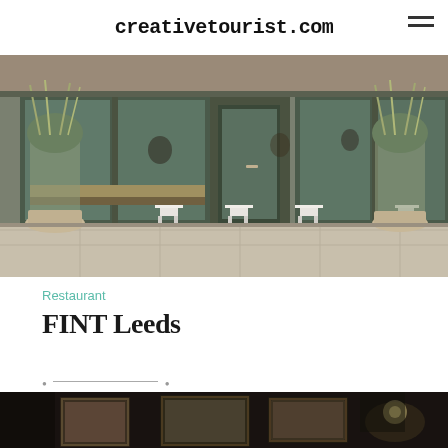creativetourist.com
[Figure (photo): Exterior of FINT Leeds restaurant showing storefront with large windows, white chairs outside, potted plants, and people visible inside]
Restaurant
FINT Leeds
[Figure (photo): Interior of restaurant showing framed artwork/photographs on wall in dark ambient lighting]